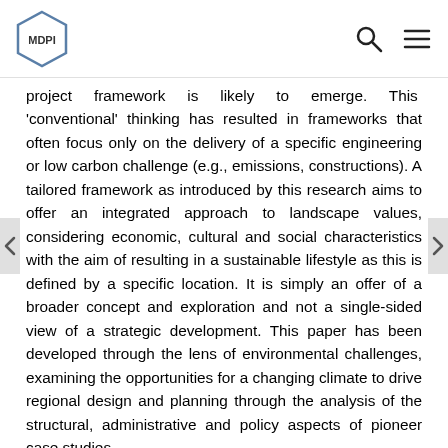MDPI [logo]
project framework is likely to emerge. This 'conventional' thinking has resulted in frameworks that often focus only on the delivery of a specific engineering or low carbon challenge (e.g., emissions, constructions). A tailored framework as introduced by this research aims to offer an integrated approach to landscape values, considering economic, cultural and social characteristics with the aim of resulting in a sustainable lifestyle as this is defined by a specific location. It is simply an offer of a broader concept and exploration and not a single-sided view of a strategic development. This paper has been developed through the lens of environmental challenges, examining the opportunities for a changing climate to drive regional design and planning through the analysis of the structural, administrative and policy aspects of pioneer case studies.
Supporting the notion that landscape is “an area as perceived by people whose character is the result of the action and interaction of natural and/or human factors” [1] as proposed by the European Landscape Convention (ELC) this paper focuses on processes that enhance adaptation and climate